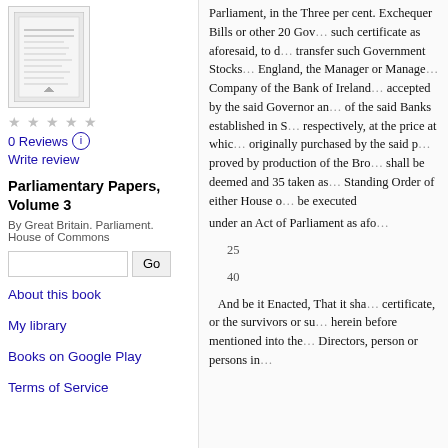[Figure (illustration): Book thumbnail/cover image for Parliamentary Papers, Volume 3]
0 Reviews
Write review
Parliamentary Papers, Volume 3
By Great Britain. Parliament. House of Commons
About this book
My library
Books on Google Play
Terms of Service
Parliament, in the Three per ... Exchequer Bills or other 20 Gov... such certificate as aforesaid, to d... transfer such Government Stocks... England, the Manager or Manage... Company of the Bank of Ireland... accepted by the said Governor an... of the said Banks established in S... respectively, at the price at whic... originally purchased by the said p... proved by production of the Bro... shall be deemed and 35 taken as... Standing Order of either House o... be executed
under an Act of Parliament as afo...
25
40
And be it Enacted, That it sha... certificate, or the survivors or su... herein before mentioned into the... Directors, person or persons in...